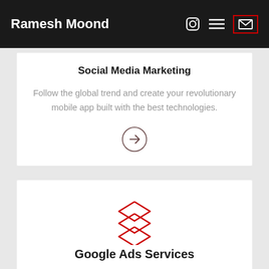Ramesh Moond
Social Media Marketing
Follow the global trend and create your revolutionary mobile app built with the best technologies.
[Figure (illustration): Arrow right circle icon]
[Figure (illustration): Red layered stack icon for Google Ads Services]
Google Ads Services